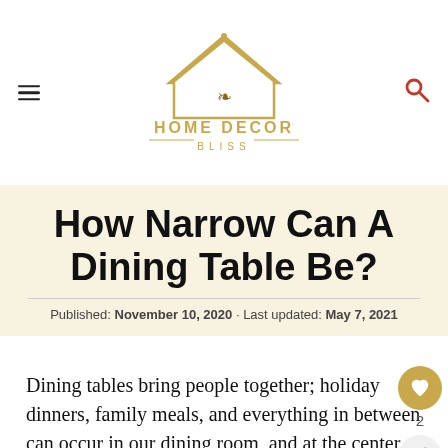HOME DECOR BLISS
How Narrow Can A Dining Table Be?
Published: November 10, 2020 · Last updated: May 7, 2021
Dining tables bring people together; holiday dinners, family meals, and everything in between can occur in our dining room, and at the center sits the dining room table.  With all these events to take into account, you need to build...